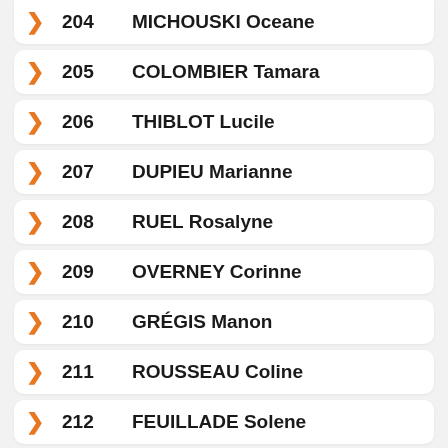204 MICHOUSKI Oceane
205 COLOMBIER Tamara
206 THIBLOT Lucile
207 DUPIEU Marianne
208 RUEL Rosalyne
209 OVERNEY Corinne
210 GRÉGIS Manon
211 ROUSSEAU Coline
212 FEUILLADE Solene
213 JONES Michelle